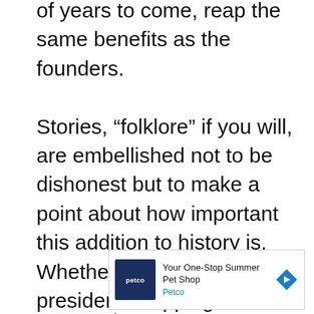of years to come, reap the same benefits as the founders.

Stories, “folklore” if you will, are embellished not to be dishonest but to make a point about how important this addition to history is. Whether it is about a US president chopping down a cherry tree to let us know about his level of honesty or the unbelievable length of a
[Figure (other): Advertisement banner for Petco: 'Your One-Stop Summer Pet Shop' with Petco logo and navigation arrow icon.]